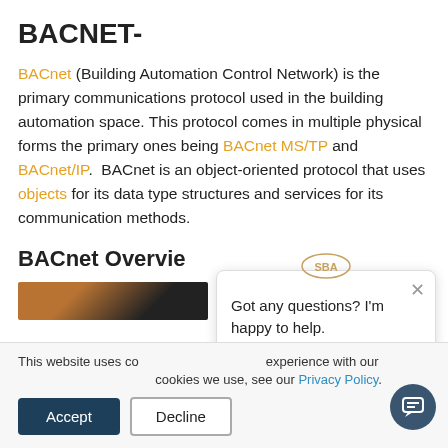BACNET-
BACnet (Building Automation Control Network) is the primary communications protocol used in the building automation space. This protocol comes in multiple physical forms the primary ones being BACnet MS/TP and BACnet/IP. BACnet is an object-oriented protocol that uses objects for its data type structures and services for its communication methods.
BACnet Overvie
[Figure (screenshot): Partial screenshot of a video thumbnail with brown/dark coloring]
This website uses cookies to improve your experience with our site. To find out more about the cookies we use, see our Privacy Policy.
Got any questions? I'm happy to help.